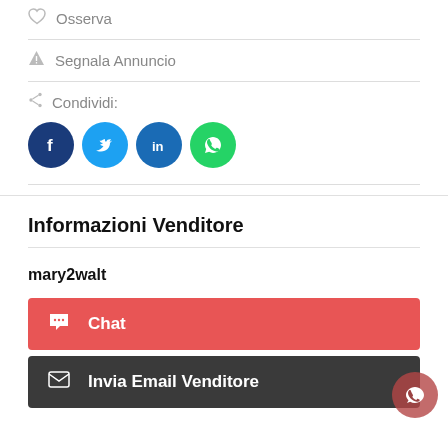Osserva
Segnala Annuncio
Condividi:
[Figure (infographic): Social share buttons: Facebook, Twitter, LinkedIn, WhatsApp]
Informazioni Venditore
mary2walt
Chat
Invia Email Venditore